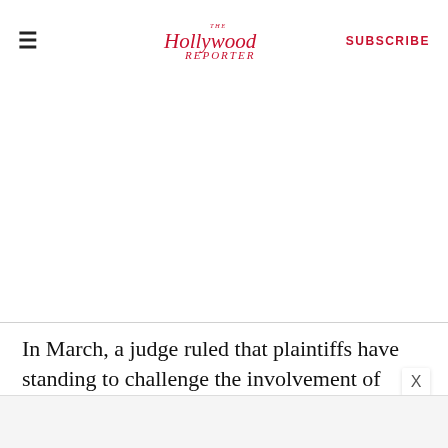The Hollywood Reporter | SUBSCRIBE
In March, a judge ruled that plaintiffs have standing to challenge the involvement of Trump with respect to the Trump International Hotel in Washington, D.C. and rejected a motion to dismiss.